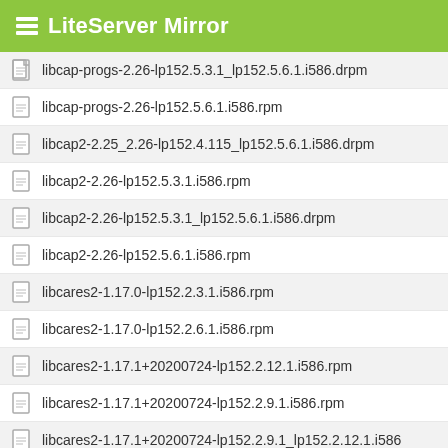LiteServer Mirror
libcap-progs-2.26-lp152.5.3.1_lp152.5.6.1.i586.drpm
libcap-progs-2.26-lp152.5.6.1.i586.rpm
libcap2-2.25_2.26-lp152.4.115_lp152.5.6.1.i586.drpm
libcap2-2.26-lp152.5.3.1.i586.rpm
libcap2-2.26-lp152.5.3.1_lp152.5.6.1.i586.drpm
libcap2-2.26-lp152.5.6.1.i586.rpm
libcares2-1.17.0-lp152.2.3.1.i586.rpm
libcares2-1.17.0-lp152.2.6.1.i586.rpm
libcares2-1.17.1+20200724-lp152.2.12.1.i586.rpm
libcares2-1.17.1+20200724-lp152.2.9.1.i586.rpm
libcares2-1.17.1+20200724-lp152.2.9.1_lp152.2.12.1.i586
libcfg6-2.45-lp152.5.3.1.i586.rpm
libcfg6-2.45-lp152.5.6.1.i586.rpm